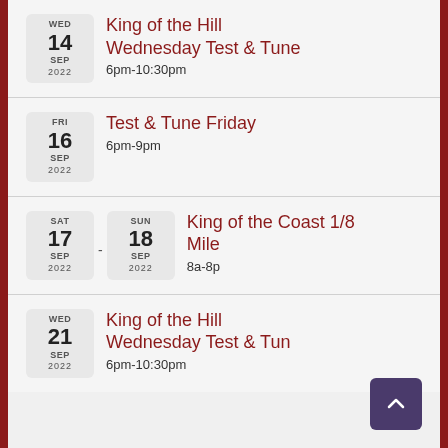WED 14 SEP 2022 - King of the Hill Wednesday Test & Tune - 6pm-10:30pm
FRI 16 SEP 2022 - Test & Tune Friday - 6pm-9pm
SAT 17 SEP 2022 - SUN 18 SEP 2022 - King of the Coast 1/8 Mile - 8a-8p
WED 21 SEP 2022 - King of the Hill Wednesday Test & Tune - 6pm-10:30pm